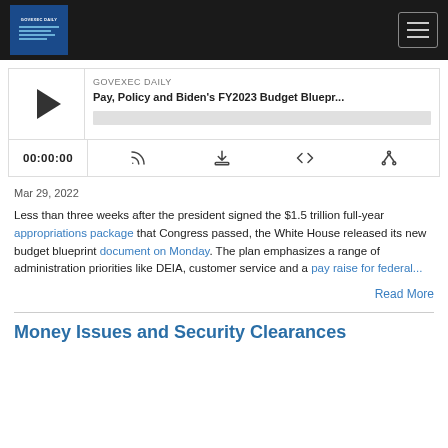GOVEXEC DAILY
Pay, Policy and Biden's FY2023 Budget Bluepr... | 00:00:00
Mar 29, 2022
Less than three weeks after the president signed the $1.5 trillion full-year appropriations package that Congress passed, the White House released its new budget blueprint document on Monday. The plan emphasizes a range of administration priorities like DEIA, customer service and a pay raise for federal...
Read More
Money Issues and Security Clearances